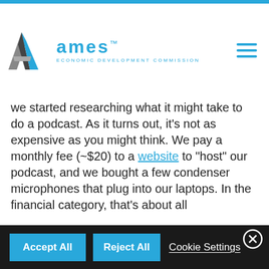Ames Economic Development Commission
we started researching what it might take to do a podcast. As it turns out, it’s not as expensive as you might think. We pay a monthly fee (~$20) to a website to “host” our podcast, and we bought a few condenser microphones that plug into our laptops. In the financial category, that’s about all
We use cookies to enable essential services and functionality on our site, to enhance your browsing experience, to provide a better service through personalized content, and to collect data on how visitors interact with our site. To accept the use of all cookies, click “Accept all”. To reject the use of all cookies, click “Reject all”. You can customize your cookie preferences by clicking “Cookie Settings”. For more information about our use of cookies and to opt-out of cookies at any time, please refer to our website Privacy Policy.